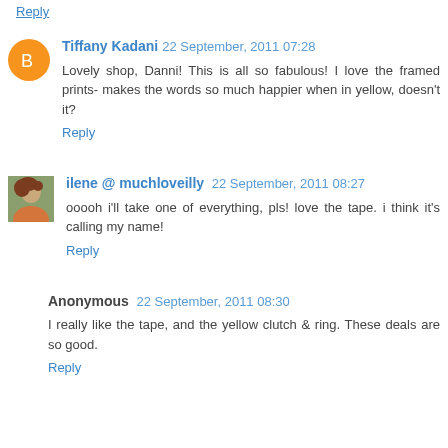Reply
Tiffany Kadani 22 September, 2011 07:28
Lovely shop, Danni! This is all so fabulous! I love the framed prints- makes the words so much happier when in yellow, doesn't it?
Reply
ilene @ muchloveilly 22 September, 2011 08:27
ooooh i'll take one of everything, pls! love the tape. i think it's calling my name!
Reply
Anonymous 22 September, 2011 08:30
I really like the tape, and the yellow clutch & ring. These deals are so good.
Reply